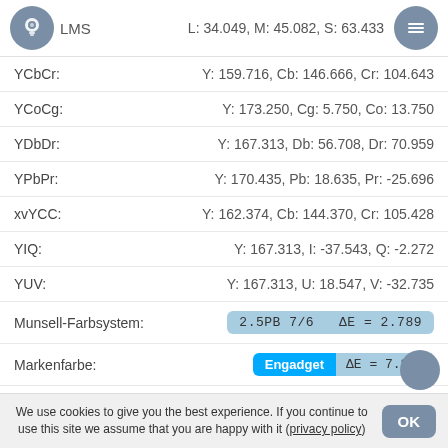LMS  L: 34.049, M: 45.082, S: 63.433
YCbCr:  Y: 159.716, Cb: 146.666, Cr: 104.643
YCoCg:  Y: 173.250, Cg: 5.750, Co: 13.750
YDbDr:  Y: 167.313, Db: 56.708, Dr: 70.959
YPbPr:  Y: 170.435, Pb: 18.635, Pr: -25.696
xvYCC:  Y: 162.374, Cb: 144.370, Cr: 105.428
YIQ:  Y: 167.313, I: -37.543, Q: -2.272
YUV:  Y: 167.313, U: 18.547, V: -32.735
Munsell-Farbsystem:  2.5PB 7/6  ΔE = 2.789
Markenfarbe:  Engadget  ΔE = 7.869
We use cookies to give you the best experience. If you continue to use this site we assume that you are happy with it (privacy policy)  OK